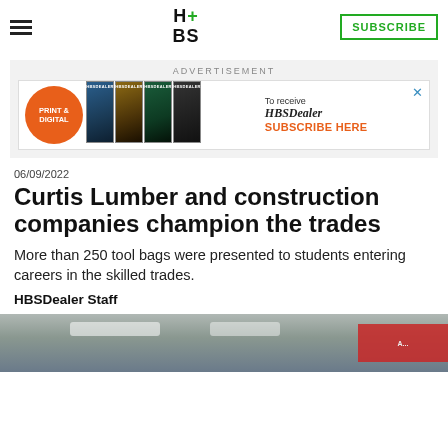HBS+ BS | SUBSCRIBE
[Figure (screenshot): HBSDealer advertisement banner with magazine covers, PRINT & DIGITAL orange circle, and SUBSCRIBE HERE text]
06/09/2022
Curtis Lumber and construction companies champion the trades
More than 250 tool bags were presented to students entering careers in the skilled trades.
HBSDealer Staff
[Figure (photo): Interior photo of a building/school with ceiling lights and a red banner sign visible]